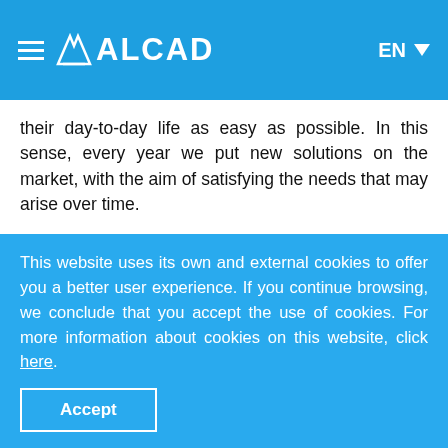ALCAD EN
their day-to-day life as easy as possible. In this sense, every year we put new solutions on the market, with the aim of satisfying the needs that may arise over time.
Each product has a large amount of documentation associated with it, from standards sheets, brochures or videos, to manuals or even firmware to download. It is therefore important to have a search tool that allows our partners and customers to easily access all this
This website uses its own and external cookies to offer you a better user experience. If you continue browsing, we conclude that you accept the use of cookies. For more information about cookies on this website, click here.
Accept